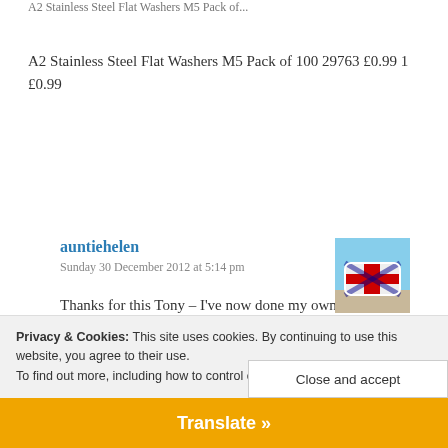A2 Stainless Steel Flat Washers M5 Pack of 100 29763 £0.99 1 £0.99
Reply
auntiehelen
Sunday 30 December 2012 at 5:14 pm
[Figure (photo): Avatar photo showing a Union Jack themed object, possibly a bag or cover, outdoors.]
Thanks for this Tony – I've now done my own modification (using some nuts and bolts ICE had already sent me). I've written it up as a new blog post. Here's hoping it works!
Privacy & Cookies: This site uses cookies. By continuing to use this website, you agree to their use.
To find out more, including how to control cookies, see here: Cookie Policy
Close and accept
Translate »